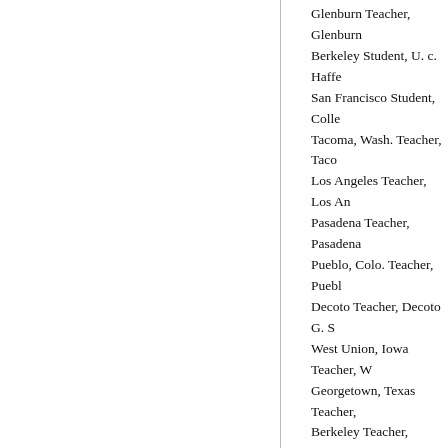Glenburn Teacher, Glenburn
Berkeley Student, U. c. Haffe
San Francisco Student, Colle
Tacoma, Wash. Teacher, Taco
Los Angeles Teacher, Los An
Pasadena Teacher, Pasadena
Pueblo, Colo. Teacher, Pueblo
Decoto Teacher, Decoto G. S
West Union, Iowa Teacher, W
Georgetown, Texas Teacher,
Berkeley Teacher, Covina G.
Turlock Farmer Halsey, Stella
San Diego Teacher, San Diog
Hammerly, Fred
San Francisco Assayer Hamp
San Francisco Teacher, Linco
Gold Hill, Nevada Teacher, F
Gold Hill, Nevada Teacher,